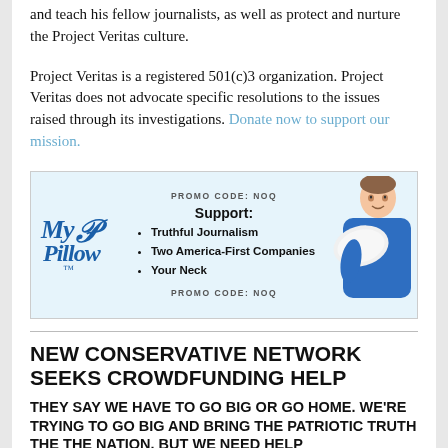and teach his fellow journalists, as well as protect and nurture the Project Veritas culture.
Project Veritas is a registered 501(c)3 organization. Project Veritas does not advocate specific resolutions to the issues raised through its investigations. Donate now to support our mission.
[Figure (illustration): MyPillow advertisement banner with logo on left, promo code NOQ at top and bottom, support bullet points for Truthful Journalism, Two America-First Companies, Your Neck in center, and man in blue shirt holding pillow on right.]
NEW CONSERVATIVE NETWORK SEEKS CROWDFUNDING HELP
THEY SAY WE HAVE TO GO BIG OR GO HOME. WE'RE TRYING TO GO BIG AND BRING THE PATRIOTIC TRUTH THE THE NATION. BUT WE NEED HELP